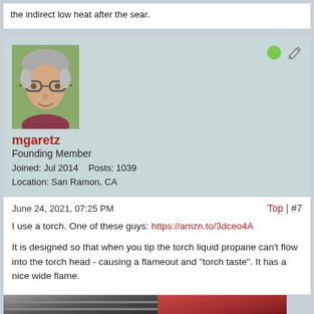the indirect low heat after the sear.
[Figure (photo): Profile avatar photo of mgaretz, an older man with glasses and grey hair outdoors]
mgaretz
Founding Member
Joined: Jul 2014    Posts: 1039
Location: San Ramon, CA
June 24, 2021, 07:25 PM
Top | #7
I use a torch. One of these guys: https://amzn.to/3dceo4A
It is designed so that when you tip the torch liquid propane can't flow into the torch head - causing a flameout and "torch taste". It has a nice wide flame.
[Figure (photo): Two photos at bottom: left shows metallic cooking surface, right shows reddish meat/food]